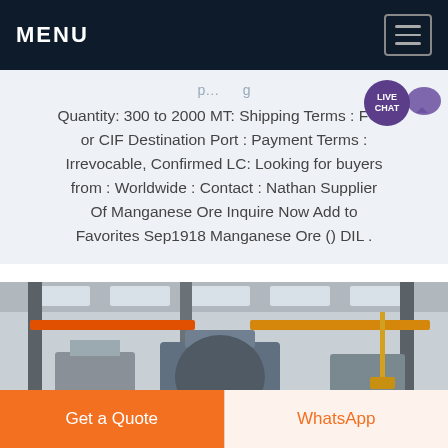MENU
Quantity: 300 to 2000 MT: Shipping Terms : FOB or CIF Destination Port : Payment Terms : Irrevocable, Confirmed LC: Looking for buyers from : Worldwide : Contact : Nathan Supplier Of Manganese Ore Inquire Now Add to Favorites Sep1918 Manganese Ore () DIL .
[Figure (photo): Industrial factory interior showing large machinery, overhead cranes with orange beams, metal pillars, and a conveyor or processing unit in the foreground.]
Get a Quote
WhatsApp